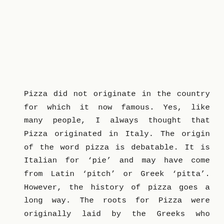Pizza did not originate in the country for which it now famous. Yes, like many people, I always thought that Pizza originated in Italy. The origin of the word pizza is debatable. It is Italian for 'pie' and may have come from Latin 'pitch' or Greek 'pitta'. However, the history of pizza goes a long way. The roots for Pizza were originally laid by the Greeks who first baked large, round and flat breads which they covered with oils, herbs and